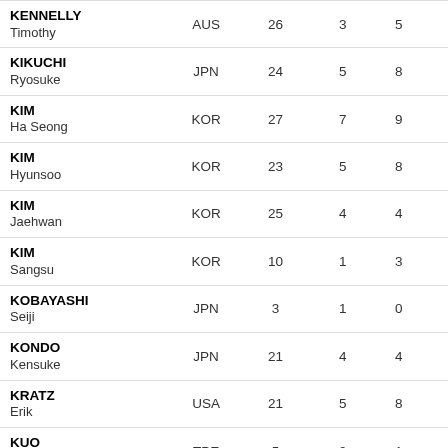| Name | NAT |  |  |  |
| --- | --- | --- | --- | --- |
| KENNELLY Timothy | AUS | 26 | 3 | 5 |
| KIKUCHI Ryosuke | JPN | 24 | 5 | 8 |
| KIM Ha Seong | KOR | 27 | 7 | 9 |
| KIM Hyunsoo | KOR | 23 | 5 | 8 |
| KIM Jaehwan | KOR | 25 | 4 | 4 |
| KIM Sangsu | KOR | 10 | 1 | 3 |
| KOBAYASHI Seiji | JPN | 3 | 1 | 0 |
| KONDO Kensuke | JPN | 21 | 4 | 4 |
| KRATZ Erik | USA | 21 | 5 | 8 |
| KUO Yen-Wen | TPE | 5 | 0 | 1 |
| LAMPE Gilmer | NED | 5 | 0 | 1 |